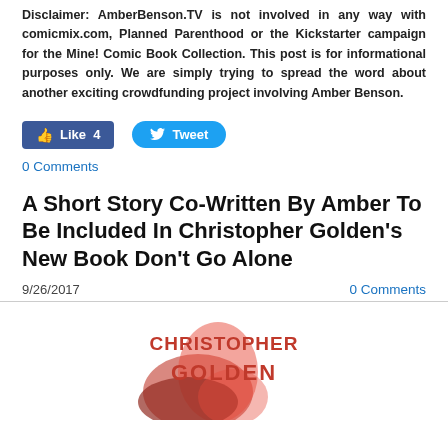Disclaimer: AmberBenson.TV is not involved in any way with comicmix.com, Planned Parenthood or the Kickstarter campaign for the Mine! Comic Book Collection. This post is for informational purposes only. We are simply trying to spread the word about another exciting crowdfunding project involving Amber Benson.
[Figure (other): Social media buttons: Facebook Like button showing count 4, and Twitter Tweet button]
0 Comments
A Short Story Co-Written By Amber To Be Included In Christopher Golden's New Book Don't Go Alone
9/26/2017
0 Comments
[Figure (photo): Book cover for Christopher Golden's book, showing the text 'CHRISTOPHER GOLDEN' in red on a white background with a red abstract design]